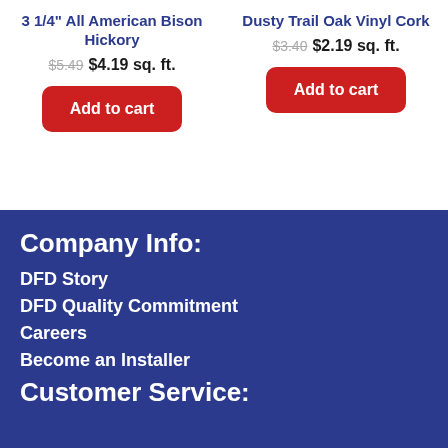3 1/4" All American Bison Hickory
$5.49 $4.19 sq. ft.
Add to cart
Dusty Trail Oak Vinyl Cork
$3.40 $2.19 sq. ft.
Add to cart
Company Info:
DFD Story
DFD Quality Commitment
Careers
Become an Installer
Customer Service: